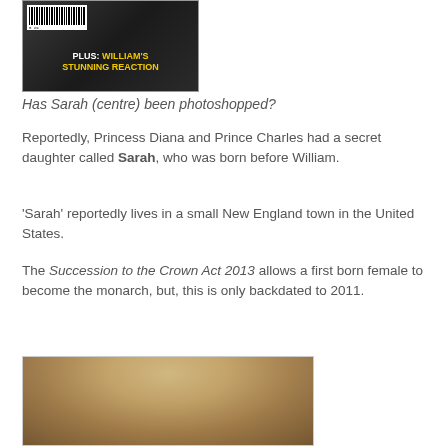[Figure (photo): Magazine cover showing people with text 'PLUS: WILLIAM'S STUNNING REACTION' and a barcode]
Has Sarah (centre) been photoshopped?
Reportedly, Princess Diana and Prince Charles had a secret daughter called Sarah, who was born before William.
'Sarah' reportedly lives in a small New England town in the United States.
The Succession to the Crown Act 2013 allows a first born female to become the monarch, but, this is only backdated to 2011.
[Figure (photo): Portrait photo of a blonde woman]